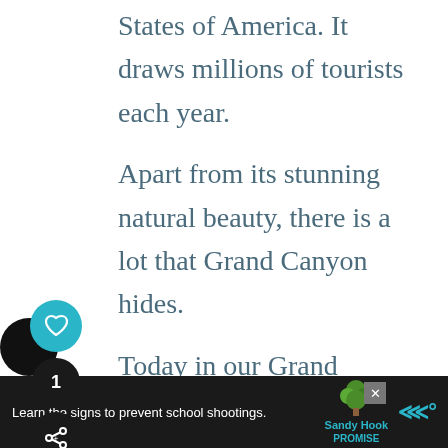States of America. It draws millions of tourists each year.
Apart from its stunning natural beauty, there is a lot that Grand Canyon hides.
Today in our Grand Canyon facts article, let us learn some fascinating facts about Grand Canyon which may be extremely helpful for your school
[Figure (other): Social media sidebar with heart/like button (teal circle), share count badge showing 1 (dark circle), and share button (dark circle with share icon)]
[Figure (other): Advertisement banner: Sandy Hook Promise ad with text 'Learn the signs to prevent school shootings.' with tree logo, close button, and wave icon]